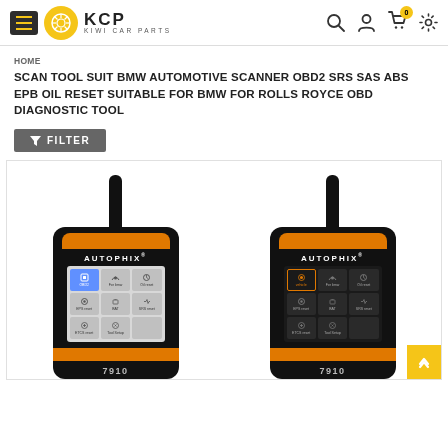KCP KIWI CAR PARTS — navigation header with hamburger menu, logo, search, account, cart (0), settings icons
HOME
SCAN TOOL SUIT BMW AUTOMOTIVE SCANNER OBD2 SRS SAS ABS EPB OIL RESET SUITABLE FOR BMW FOR ROLLS ROYCE OBD DIAGNOSTIC TOOL
FILTER
[Figure (photo): Two AUTOPHIX 7910 OBD2 diagnostic scan tools side by side. Both are black and orange handheld devices with a cable on top and a screen showing a grid of diagnostic function icons (OBD2, For bmw, Oil reset, EPS reset, BAT, SRS reset, ETCS reset, Tool Setup). Left device shows the screen with white/grey background icons; right device shows screen with dark background and one icon highlighted in orange border.]